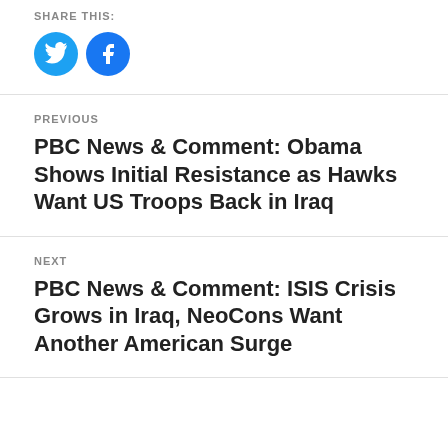SHARE THIS:
[Figure (illustration): Twitter and Facebook social sharing icons (circular buttons)]
PREVIOUS
PBC News & Comment: Obama Shows Initial Resistance as Hawks Want US Troops Back in Iraq
NEXT
PBC News & Comment: ISIS Crisis Grows in Iraq, NeoCons Want Another American Surge